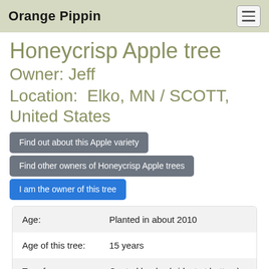Orange Pippin
Honeycrisp Apple tree
Owner: Jeff
Location:  Elko, MN / SCOTT, United States
Find out about this Apple variety
Find other owners of Honeycrisp Apple trees
I am the owner of this tree
| Field | Value |
| --- | --- |
| Age: | Planted in about 2010 |
| Age of this tree: | 15 years |
| Tree form: | Central leader (widest at bottom) |